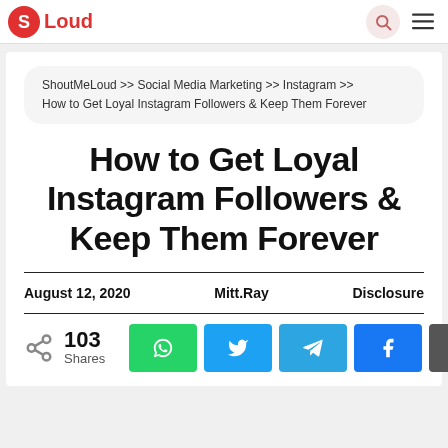ShoutMeLoud
ShoutMeLoud >> Social Media Marketing >> Instagram >> How to Get Loyal Instagram Followers & Keep Them Forever
How to Get Loyal Instagram Followers & Keep Them Forever
August 12, 2020   Mitt.Ray   Disclosure
103 Shares